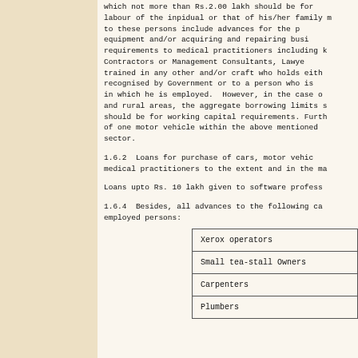which not more than Rs.2.00 lakh should be for labour of the inpidual or that of his/her family m to these persons include advances for the p equipment and/or acquiring and repairing busi requirements to medical practitioners including k Contractors or Management Consultants, Lawye trained in any other and/or craft who holds eith recognised by Government or to a person who is in which he is employed.  However, in the case o and rural areas, the aggregate borrowing limits s should be for working capital requirements. Furth of one motor vehicle within the above mentioned sector.
1.6.2  Loans for purchase of cars, motor vehic medical practitioners to the extent and in the ma
Loans upto Rs. 10 lakh given to software profess
1.6.4  Besides, all advances to the following ca employed persons:
| Xerox operators |
| Small tea-stall Owners |
| Carpenters |
| Plumbers |